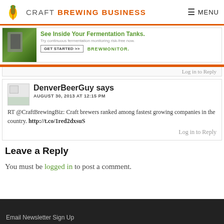CRAFT BREWING BUSINESS  MENU
[Figure (screenshot): Advertisement banner for BrewMonitor: 'See Inside Your Fermentation Tanks. Try continuous fermentation monitoring risk-free now. GET STARTED >> BREWMONITOR.']
Log in to Reply
DenverBeerGuy says
AUGUST 30, 2013 AT 12:15 PM
RT @CraftBrewingBiz: Craft brewers ranked among fastest growing companies in the country. http://t.co/1red2dxsuS
Log in to Reply
Leave a Reply
You must be logged in to post a comment.
Email Newsletter Sign Up